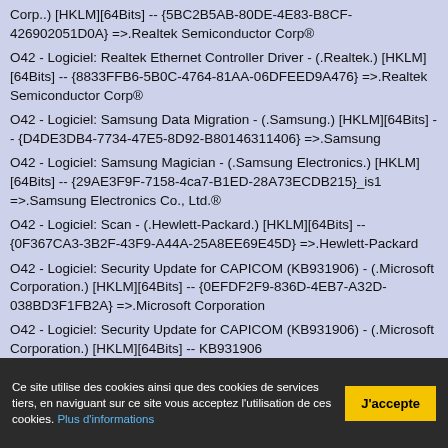Corp..) [HKLM][64Bits] -- {5BC2B5AB-80DE-4E83-B8CF-426902051D0A} =>.Realtek Semiconductor Corp®
O42 - Logiciel: Realtek Ethernet Controller Driver - (.Realtek.) [HKLM][64Bits] -- {8833FFB6-5B0C-4764-81AA-06DFEED9A476} =>.Realtek Semiconductor Corp®
O42 - Logiciel: Samsung Data Migration - (.Samsung.) [HKLM][64Bits] -- {D4DE3DB4-7734-47E5-8D92-B80146311406} =>.Samsung
O42 - Logiciel: Samsung Magician - (.Samsung Electronics.) [HKLM][64Bits] -- {29AE3F9F-7158-4ca7-B1ED-28A73ECDB215}_is1 =>.Samsung Electronics Co., Ltd.®
O42 - Logiciel: Scan - (.Hewlett-Packard.) [HKLM][64Bits] -- {0F367CA3-3B2F-43F9-A44A-25A8EE69E45D} =>.Hewlett-Packard
O42 - Logiciel: Security Update for CAPICOM (KB931906) - (.Microsoft Corporation.) [HKLM][64Bits] -- {0EFDF2F9-836D-4EB7-A32D-038BD3F1FB2A} =>.Microsoft Corporation
O42 - Logiciel: Security Update for CAPICOM (KB931906) - (.Microsoft Corporation.) [HKLM][64Bits] -- KB931906 =>.Microsoft Corporation
Ce site utilise des cookies ainsi que des cookies de services tiers, en naviguant sur ce site vous acceptez l'utilisation de ces cookies. Plus d'informations